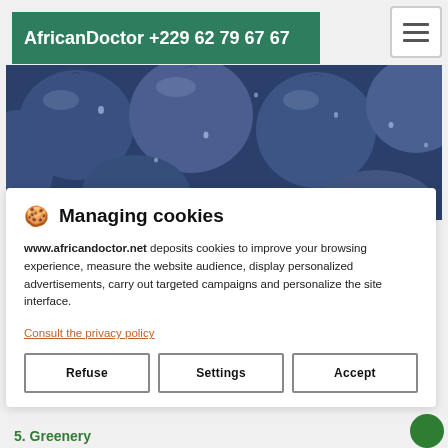AfricanDoctor +229 62 79 67 67
[Figure (photo): Close-up photograph of fresh blueberries with water droplets on their surface, dark blue color, filling the entire image area.]
🍪 Managing cookies
www.africandoctor.net deposits cookies to improve your browsing experience, measure the website audience, display personalized advertisements, carry out targeted campaigns and personalize the site interface.
Consult the privacy policy
5. Greenery